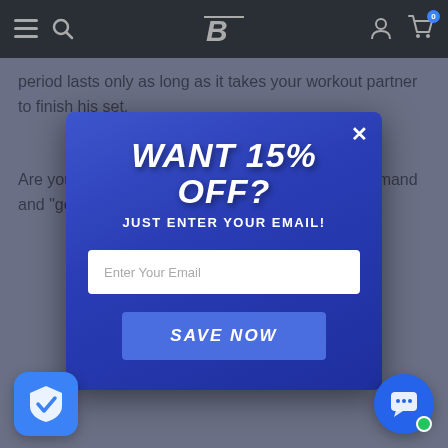Bodybuilding.com navigation bar with menu, search, logo, account, and cart icons
period lasts only as long as it takes your workout partner to finish his set.
Are you ready for a true workout? Follow CT's command and "get after it," will...
[Figure (screenshot): Email signup popup modal with dark blue background overlay. Title: WANT 15% OFF? Subtitle: JUST ENTER YOUR EMAIL! Email input field and SAVE NOW button.]
[Figure (other): Blue shield with checkmark widget in bottom left corner]
[Figure (other): Blue chat bubble widget with green online dot in bottom right corner]